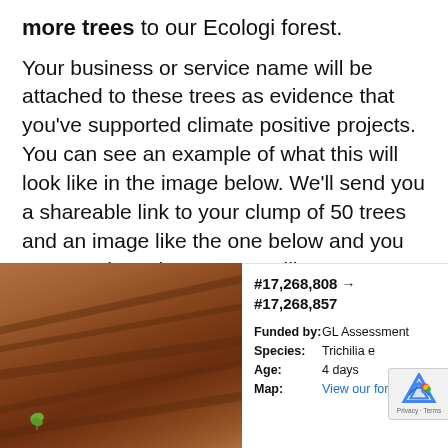more trees to our Ecologi forest.
Your business or service name will be attached to these trees as evidence that you've supported climate positive projects. You can see an example of what this will look like in the image below. We'll send you a shareable link to your clump of 50 trees and an image like the one below and you can use these however you like.
[Figure (photo): Photograph of red/brown soil with erosion lines and a small green seedling in the lower left. Beside the photo is an info panel showing tree numbers #17,268,808 → #17,268,857, Funded by: GL Assessment, Species: Trichilia e[dreyana], Age: 4 days, Map: View our forest. A reCAPTCHA badge is partially visible in the bottom right corner.]